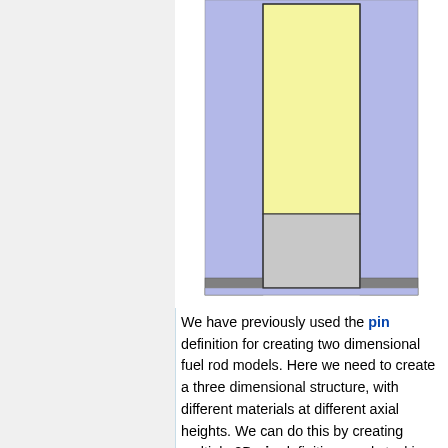[Figure (schematic): Cross-sectional diagram of a nuclear fuel rod pin showing layered structure: outer blue cladding region, inner yellow fuel pellet region at top, gray plenum/reflector region below the fuel, and dark gray end cap at the bottom. All regions are shown in a 2D vertical cross-section.]
We have previously used the pin definition for creating two dimensional fuel rod models. Here we need to create a three dimensional structure, with different materials at different axial heights. We can do this by creating multiple 2D pin definitions and stacking